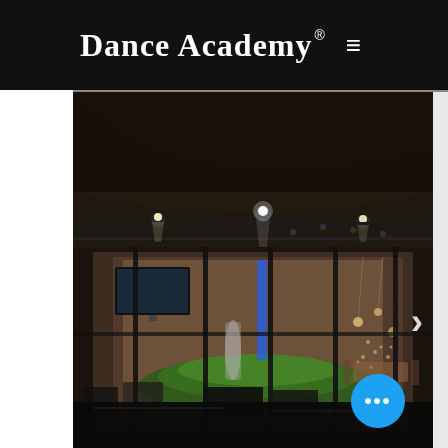Dance Academy® ☰
[Figure (photo): Interior photo of a dance academy or entertainment venue at night. Large floor-to-ceiling glass windows/walls with dark metal frames reveal a modern interior space with track lighting on the ceiling, a flat-screen TV on the wall, green turf/grass installation on the floor, and decorative hanging lights in the background. A right-pointing chevron arrow is visible on the right side of the image. A blue circular button with three dots (ellipsis) appears in the lower right corner of the image.]